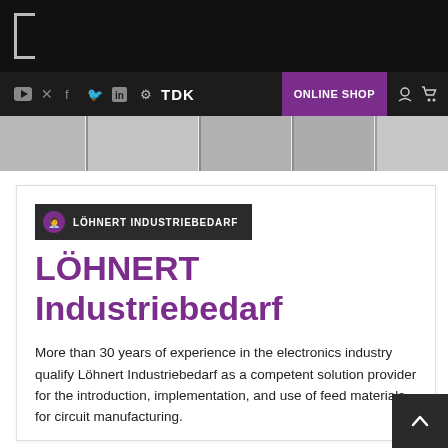[ navigation/header bar with TDK logo, social icons, and ONLINE SHOP button ]
[Figure (screenshot): Hero banner image strip showing product images (blurred/cropped)]
LÖHNERT INDUSTRIEBEDARF
LÖHNERT Industriebedarf
More than 30 years of experience in the electronics industry qualify Löhnert Industriebedarf as a competent solution provider for the introduction, implementation, and use of feed materials for circuit manufacturing.